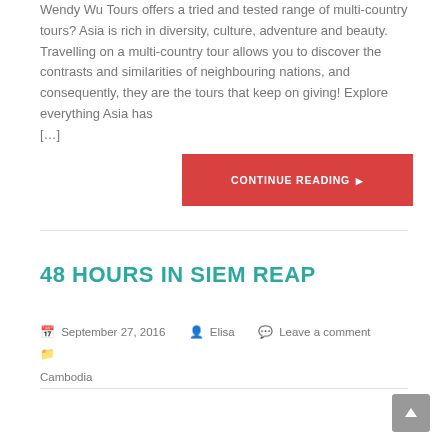Wendy Wu Tours offers a tried and tested range of multi-country tours? Asia is rich in diversity, culture, adventure and beauty. Travelling on a multi-country tour allows you to discover the contrasts and similarities of neighbouring nations, and consequently, they are the tours that keep on giving! Explore everything Asia has […]
CONTINUE READING ▶
48 HOURS IN SIEM REAP
September 27, 2016   Elisa   Leave a comment   Cambodia